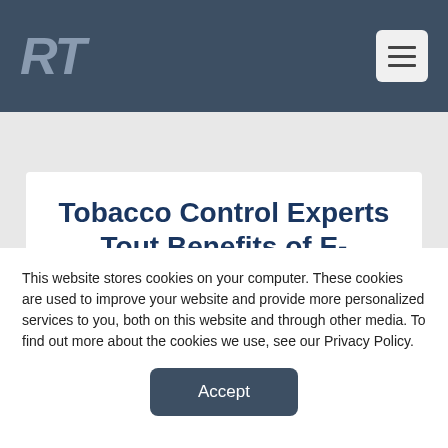RT
Tobacco Control Experts Tout Benefits of E-
This website stores cookies on your computer. These cookies are used to improve your website and provide more personalized services to you, both on this website and through other media. To find out more about the cookies we use, see our Privacy Policy.
Accept